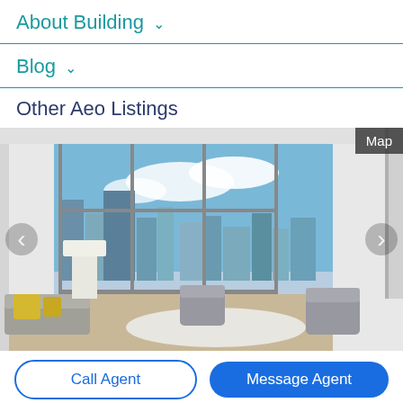About Building ∨
Blog ∨
Other Aeo Listings
[Figure (photo): Interior photo of a modern high-rise apartment living room with floor-to-ceiling windows overlooking a city skyline. Features contemporary furniture including a grey sofa, patterned chairs, decorative mirror, and lamp. Yellow accent pillows visible.]
Call Agent
Message Agent